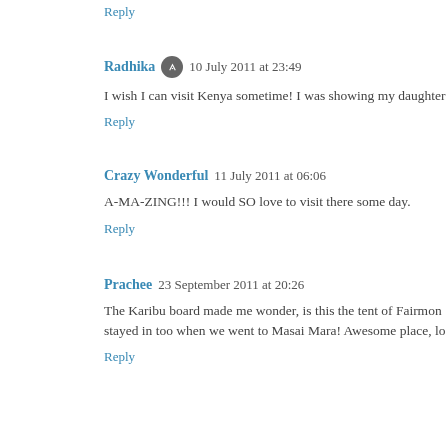Reply
Radhika  10 July 2011 at 23:49
I wish I can visit Kenya sometime! I was showing my daughter
Reply
Crazy Wonderful  11 July 2011 at 06:06
A-MA-ZING!!! I would SO love to visit there some day.
Reply
Prachee  23 September 2011 at 20:26
The Karibu board made me wonder, is this the tent of Fairmon stayed in too when we went to Masai Mara! Awesome place, lo
Reply